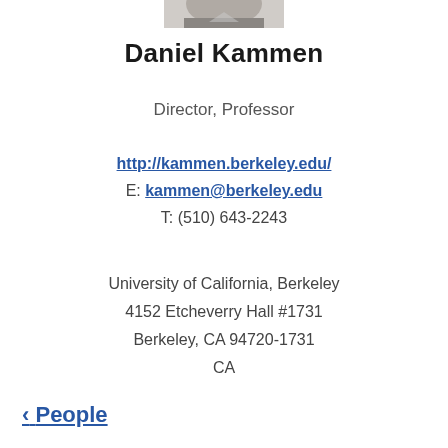[Figure (photo): Partial photo of Daniel Kammen, cropped at top of page showing bottom of face/shoulder area]
Daniel Kammen
Director, Professor
http://kammen.berkeley.edu/
E: kammen@berkeley.edu
T: (510) 643-2243
University of California, Berkeley
4152 Etcheverry Hall #1731
Berkeley, CA 94720-1731
CA
< People